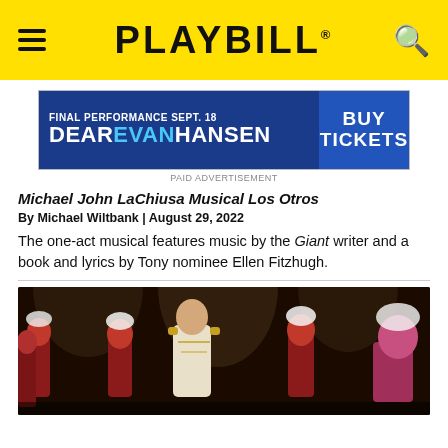PLAYBILL
[Figure (other): Dear Evan Hansen advertisement banner. Text: FINAL PERFORMANCE SEPT. 18 / DEAR EVAN HANSEN / BUY TICKETS / PAID ADVERTISEMENT]
Michael John LaChiusa Musical Los Otros
By Michael Wiltbank | August 29, 2022
The one-act musical features music by the Giant writer and a book and lyrics by Tony nominee Ellen Fitzhugh.
[Figure (photo): Stage performance photo showing performers in ornate costumes: one performer in a white and gold military-style jacket at center, surrounded by performers in red and white marching band costumes with feathered hats.]